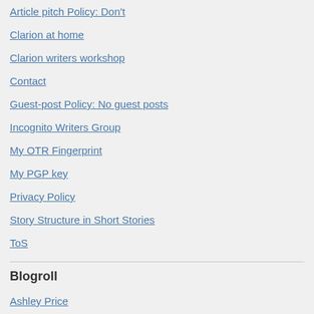Article pitch Policy: Don't
Clarion at home
Clarion writers workshop
Contact
Guest-post Policy: No guest posts
Incognito Writers Group
My OTR Fingerprint
My PGP key
Privacy Policy
Story Structure in Short Stories
ToS
Blogroll
Ashley Price
Beth Adele Long
Jackie Brewer
Kelly Searsmith
Marissa Lingen
Martha J. Allard